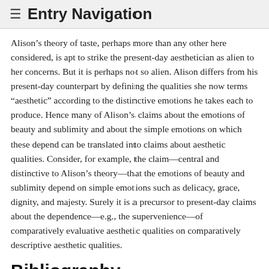≡ Entry Navigation
Alison’s theory of taste, perhaps more than any other here considered, is apt to strike the present-day aesthetician as alien to her concerns. But it is perhaps not so alien. Alison differs from his present-day counterpart by defining the qualities she now terms “aesthetic” according to the distinctive emotions he takes each to produce. Hence many of Alison’s claims about the emotions of beauty and sublimity and about the simple emotions on which these depend can be translated into claims about aesthetic qualities. Consider, for example, the claim—central and distinctive to Alison’s theory—that the emotions of beauty and sublimity depend on simple emotions such as delicacy, grace, dignity, and majesty. Surely it is a precursor to present-day claims about the dependence—e.g., the supervenience—of comparatively evaluative aesthetic qualities on comparatively descriptive aesthetic qualities.
Bibliography